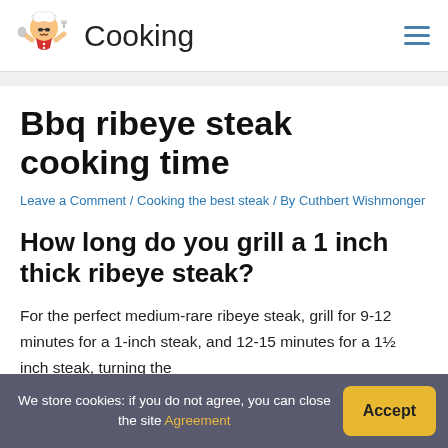Cooking
Bbq ribeye steak cooking time
Leave a Comment / Cooking the best steak / By Cuthbert Wishmonger
How long do you grill a 1 inch thick ribeye steak?
For the perfect medium-rare ribeye steak, grill for 9-12 minutes for a 1-inch steak, and 12-15 minutes for a 1½ inch steak, turning the steaks once at the halfway point.
We store cookies: if you do not agree, you can close the site Agreement